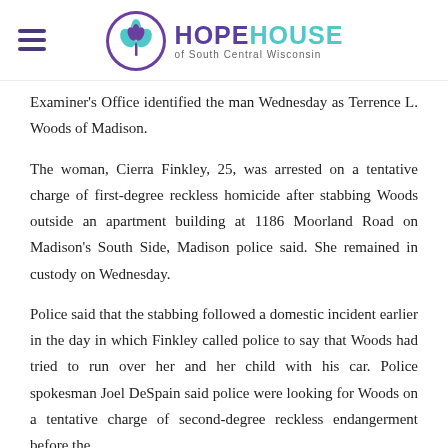HOPE HOUSE of South Central Wisconsin
Examiner's Office identified the man Wednesday as Terrence L. Woods of Madison.
The woman, Cierra Finkley, 25, was arrested on a tentative charge of first-degree reckless homicide after stabbing Woods outside an apartment building at 1186 Moorland Road on Madison's South Side, Madison police said. She remained in custody on Wednesday.
Police said that the stabbing followed a domestic incident earlier in the day in which Finkley called police to say that Woods had tried to run over her and her child with his car. Police spokesman Joel DeSpain said police were looking for Woods on a tentative charge of second-degree reckless endangerment before the